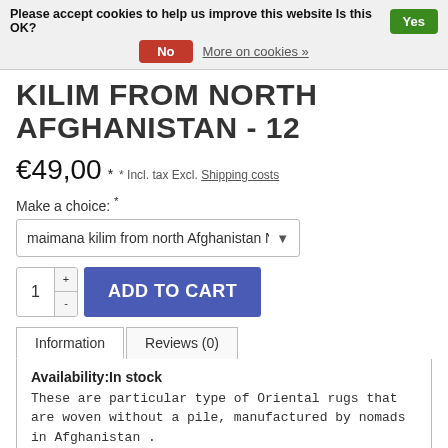Please accept cookies to help us improve this website Is this OK? Yes No More on cookies »
KILIM FROM NORTH AFGHANISTAN - 12
€49,00 * * Incl. tax Excl. Shipping costs
Make a choice: *
maimana kilim from north Afghanistan No
1 + - ADD TO CART
Information   Reviews (0)
Availability:In stock
These are particular type of Oriental rugs that are woven without a pile, manufactured by nomads in Afghanistan .